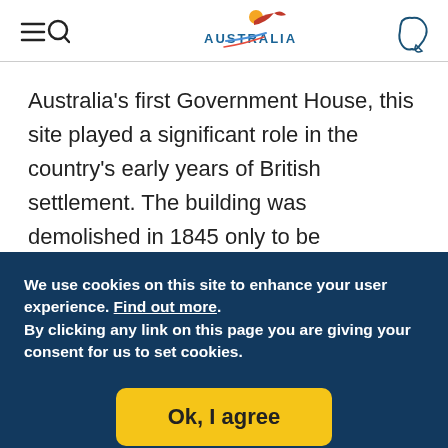[Figure (logo): Australia Tourism logo with stylized bird/sun figure and 'AUSTRALIA' text]
Australia's first Government House, this site played a significant role in the country's early years of British settlement. The building was demolished in 1845 only to be rediscovered in 1983 during an archaeological
We use cookies on this site to enhance your user experience. Find out more.
By clicking any link on this page you are giving your consent for us to set cookies.